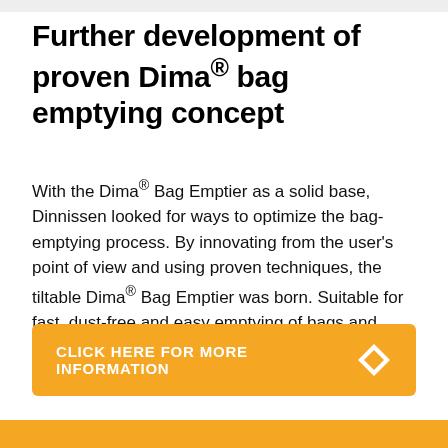Further development of proven Dima® bag emptying concept
With the Dima® Bag Emptier as a solid base, Dinnissen looked for ways to optimize the bag-emptying process. By innovating from the user's point of view and using proven techniques, the tiltable Dima® Bag Emptier was born. Suitable for fast, dust-free and easy emptying of bags and operated by one single operator.
[Figure (other): Orange CTA button with text 'CLICK HERE FOR MORE INFORMATION' and a white diamond/rhombus icon on the right]